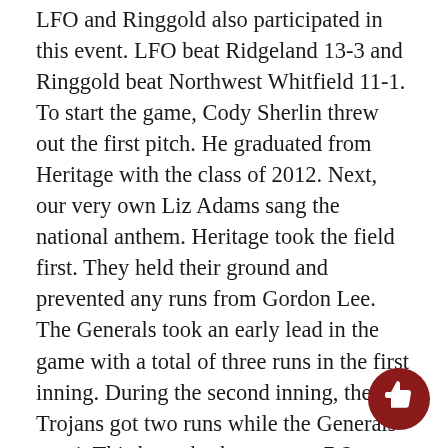LFO and Ringgold also participated in this event. LFO beat Ridgeland 13-3 and Ringgold beat Northwest Whitfield 11-1. To start the game, Cody Sherlin threw out the first pitch. He graduated from Heritage with the class of 2012. Next, our very own Liz Adams sang the national anthem. Heritage took the field first. They held their ground and prevented any runs from Gordon Lee. The Generals took an early lead in the game with a total of three runs in the first inning. During the second inning, the Trojans got two runs while the Generals got 4. This brought the score to 7-2 Heritage. Nobody scored during the third, fourth, and fifth innings. Jonathan Hickman pitched great during the first five innings. Justin Morris then followed Hickman by pitching the sixth inning. In the bottom of the sixth, the Generals scored one more run to make the score 8-2 Heritage. The Generals switched pitchers once again to give...